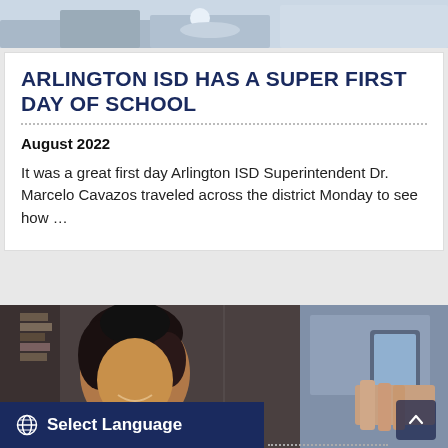[Figure (photo): Top portion of a photo, likely showing school-related items on a desk (books, supplies), cropped at the top of the page.]
ARLINGTON ISD HAS A SUPER FIRST DAY OF SCHOOL
August 2022
It was a great first day Arlington ISD Superintendent Dr. Marcelo Cavazos traveled across the district Monday to see how …
[Figure (photo): Photo showing a smiling young girl with curly hair on the left, and a person holding up a smartphone/camera on the right, appearing to take a photo.]
⊕ Select Language